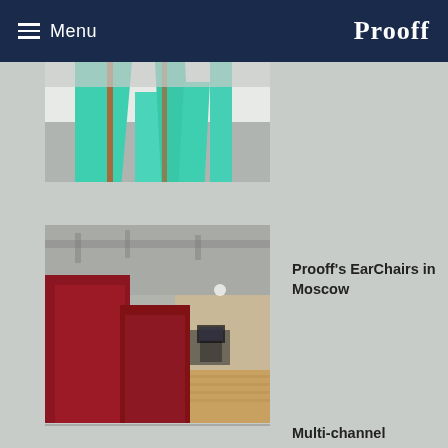Menu | Prooff
[Figure (photo): Close-up of green metal structural beams or furniture frame components, industrial design]
[Figure (photo): Red high-backed EarChair booth seating in an open-plan office space with wooden floors, Moscow]
Prooff’s EarChairs in Moscow
Multi-channel